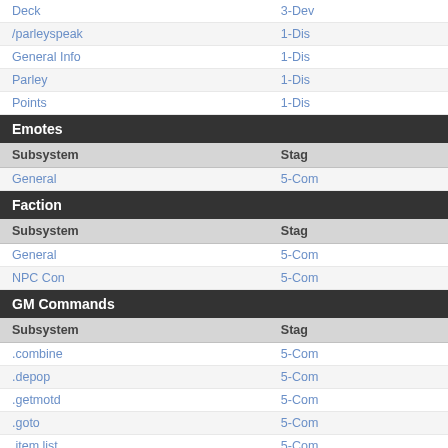| Subsystem | Stage |
| --- | --- |
| Deck | 3-Dev |
| /parleyspeak | 1-Dis |
| General Info | 1-Dis |
| Parley | 1-Dis |
| Points | 1-Dis |
| Emotes |  |
| Subsystem | Stage |
| General | 5-Com |
| Faction |  |
| Subsystem | Stage |
| General | 5-Com |
| NPC Con | 5-Com |
| GM Commands |  |
| Subsystem | Stage |
| .combine | 5-Com |
| .depop | 5-Com |
| .getmotd | 5-Com |
| .goto | 5-Com |
| .item list | 5-Com |
| .kill | 5-Com |
| .listcommands | 5-Com |
| .move | 5-Com |
| .reload | 5-Com |
| .reload chunks | 5-Com |
| .repop | 5-Com |